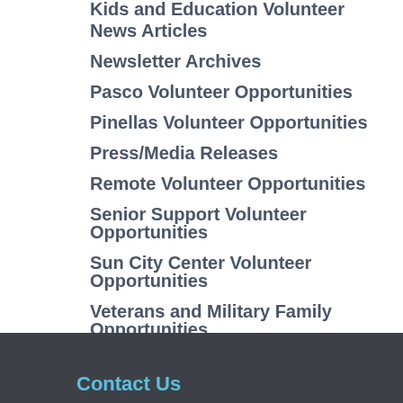Kids and Education Volunteer Opportunities
News Articles
Newsletter Archives
Pasco Volunteer Opportunities
Pinellas Volunteer Opportunities
Press/Media Releases
Remote Volunteer Opportunities
Senior Support Volunteer Opportunities
Sun City Center Volunteer Opportunities
Veterans and Military Family Opportunities
Volunteer Opportunities
Volunteer Spotlight
Contact Us